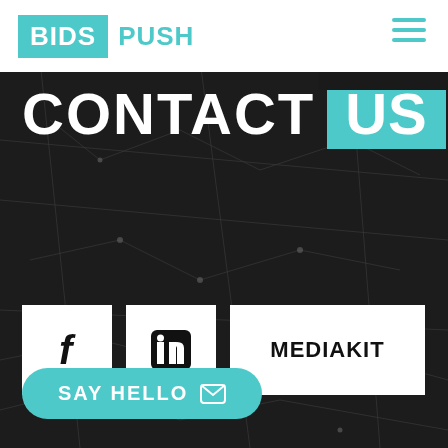BIDS PUSH
CONTACT US
[Figure (logo): Facebook icon button - white square with letter f]
[Figure (logo): LinkedIn icon button - white square with LinkedIn logo]
MEDIAKIT
SAY HELLO